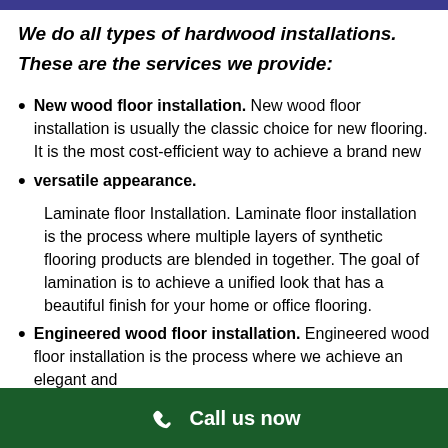We do all types of hardwood installations.
These are the services we provide:
New wood floor installation.  New wood floor installation is usually the classic choice for new flooring.  It is the most cost-efficient way to achieve a brand new
versatile appearance.
Laminate floor Installation. Laminate floor installation is the process where multiple layers of synthetic flooring products are blended in together.  The goal of lamination is to achieve a unified look that has a beautiful finish for your home or office flooring.
Engineered wood floor installation.  Engineered wood floor installation is the process where we achieve an elegant and
Call us now